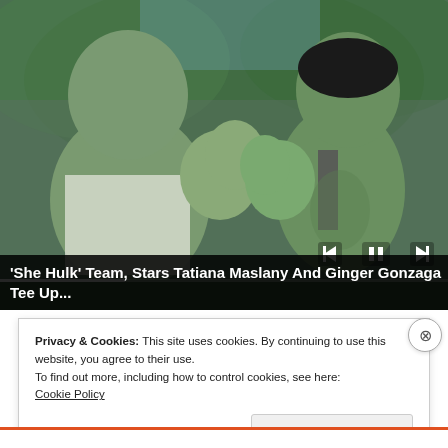[Figure (screenshot): Video player screenshot showing two green-skinned characters from 'She-Hulk' facing each other with hands raised, in an outdoor jungle/forest setting. Video controls (skip back, pause, skip forward) visible at bottom right, with a progress bar.]
'She Hulk' Team, Stars Tatiana Maslany And Ginger Gonzaga Tee Up...
Privacy & Cookies: This site uses cookies. By continuing to use this website, you agree to their use.
To find out more, including how to control cookies, see here:
Cookie Policy
Close and accept